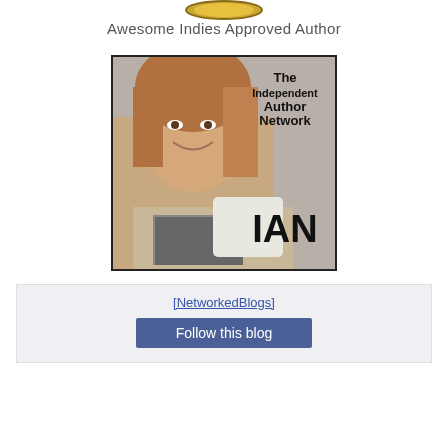[Figure (logo): Awesome Indies Approved Author gold badge/seal at top]
Awesome Indies Approved Author
[Figure (photo): The Independent Author Network (IAN) logo image showing a smiling woman leaning on a book with text 'The Independent Author Network' and 'IAN']
[Figure (screenshot): NetworkedBlogs widget with broken image placeholder '[NetworkedBlogs]' and a 'Follow this blog' button]